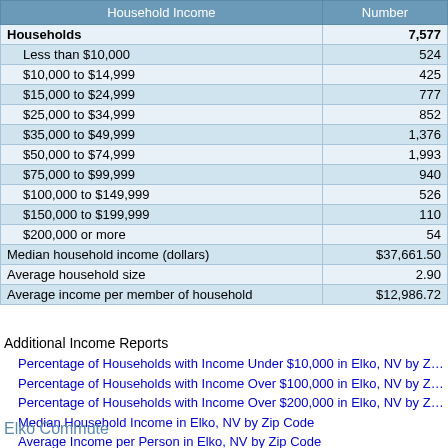| Household Income | Number |
| --- | --- |
| Households | 7,577 |
| Less than $10,000 | 524 |
| $10,000 to $14,999 | 425 |
| $15,000 to $24,999 | 777 |
| $25,000 to $34,999 | 852 |
| $35,000 to $49,999 | 1,376 |
| $50,000 to $74,999 | 1,993 |
| $75,000 to $99,999 | 940 |
| $100,000 to $149,999 | 526 |
| $150,000 to $199,999 | 110 |
| $200,000 or more | 54 |
| Median household income (dollars) | $37,661.50 |
| Average household size | 2.90 |
| Average income per member of household | $12,986.72 |
Additional Income Reports
Percentage of Households with Income Under $10,000 in Elko, NV by Zip Code
Percentage of Households with Income Over $100,000 in Elko, NV by Zip Code
Percentage of Households with Income Over $200,000 in Elko, NV by Zip Code
Median Household Income in Elko, NV by Zip Code
Average Income per Person in Elko, NV by Zip Code
Percentage of Population Below Poverty Level in Elko, NV by Zip Code
Percentage of Families Below Poverty Level in Elko, NV by Zip Code
Download Data
Elko Commute